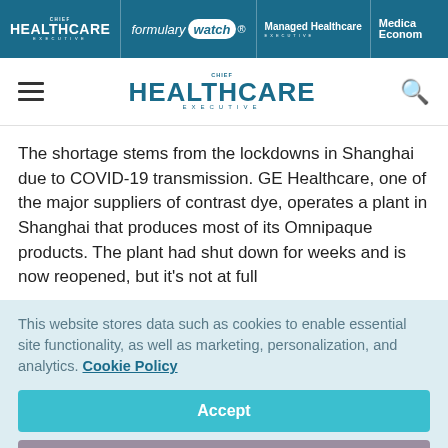CHIEF HEALTHCARE EXECUTIVE | formulary watch | Managed Healthcare EXECUTIVE | Medical Economics
[Figure (logo): Chief Healthcare Executive logo in white nav bar]
The shortage stems from the lockdowns in Shanghai due to COVID-19 transmission. GE Healthcare, one of the major suppliers of contrast dye, operates a plant in Shanghai that produces most of its Omnipaque products. The plant had shut down for weeks and is now reopened, but it's not at full
This website stores data such as cookies to enable essential site functionality, as well as marketing, personalization, and analytics. Cookie Policy
Accept
Deny